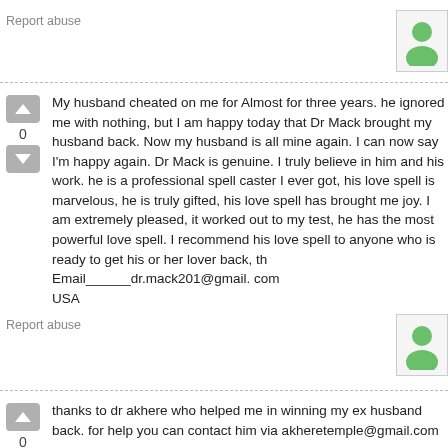Report abuse
[Figure (illustration): Green user avatar icon in a white box with gray border]
My husband cheated on me for Almost for three years. he ignored me with nothing, but I am happy today that Dr Mack brought my husband back. Now my husband is all mine again. I can now say I'm happy again. Dr Mack is genuine. I truly believe in him and his work. he is a professional spell caster I ever got, his love spell is marvelous, he is truly gifted, his love spell has brought me joy. I am extremely pleased, it worked out to my test, he has the most powerful love spell. I recommend his love spell to anyone who is ready to get his or her lover back, the email address is: Email______dr.mack201@gmail. com USA
Report abuse
[Figure (illustration): Green user avatar icon in a white box with gray border]
thanks to dr akhere who helped me in winning my ex husband back. for help you can contact him via akheretemple@gmail.com